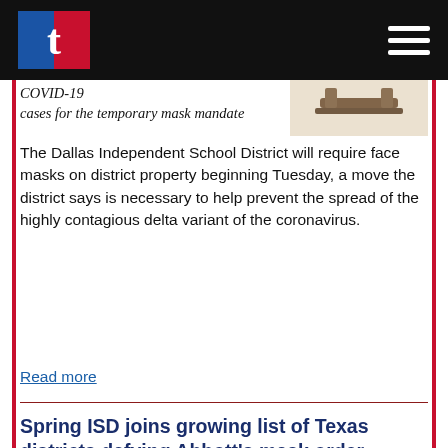Texan news website header with logo T and hamburger menu
COVID-19 cases for the temporary mask mandate
[Figure (photo): Partial view of a brown wooden podium or desk, light background, cropped article thumbnail]
The Dallas Independent School District will require face masks on district property beginning Tuesday, a move the district says is necessary to help prevent the spread of the highly contagious delta variant of the coronavirus.
Read more
Spring ISD joins growing list of Texas districts defying Abbott's mask order
[Figure (photo): Chancellor Elementary school sign with trees in background, red sign with white text reading CHANCELLOR ELEMENTARY]
As Spring ISD